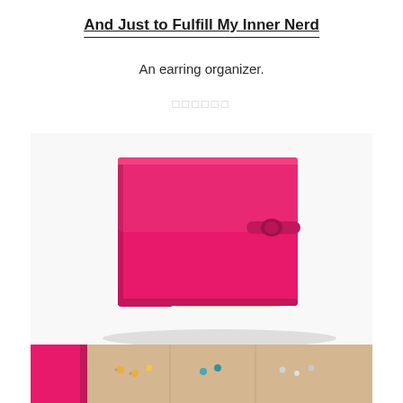And Just to Fulfill My Inner Nerd
An earring organizer.
🔲🔲🔲🔲🔲🔲
[Figure (photo): A hot pink/magenta earring organizer book closed with a strap clasp, showing multiple felt pages fanned out at the bottom, resembling a book.]
[Figure (photo): The earring organizer book open, showing beige felt pages with earrings organized in small holes, with a pink cover visible on the left.]